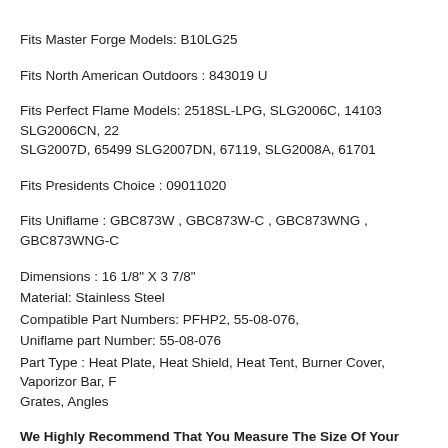Fits Master Forge Models: B10LG25
Fits North American Outdoors : 843019 U
Fits Perfect Flame Models: 2518SL-LPG, SLG2006C, 14103 SLG2006CN, 22 SLG2007D, 65499 SLG2007DN, 67119, SLG2008A, 61701
Fits Presidents Choice : 09011020
Fits Uniflame : GBC873W , GBC873W-C , GBC873WNG , GBC873WNG-C
Dimensions : 16 1/8" X 3 7/8"
Material: Stainless Steel
Compatible Part Numbers: PFHP2, 55-08-076,
Uniflame part Number: 55-08-076
Part Type : Heat Plate, Heat Shield, Heat Tent, Burner Cover, Vaporizor Bar, Flame Tamers, Grates, Angles
We Highly Recommend That You Measure The Size Of Your Original Part Before You Order